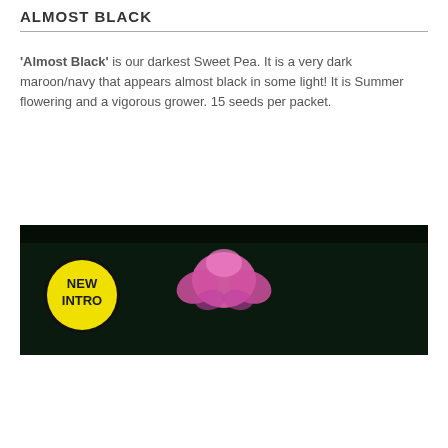ALMOST BLACK
'Almost Black' is our darkest Sweet Pea. It is a very dark maroon/navy that appears almost black in some light! It is Summer flowering and a vigorous grower. 15 seeds per packet.
[Figure (photo): Dark background image showing pink/magenta sweet pea flowers with a yellow 'NEW INTRO' circular badge overlaid on the left side.]